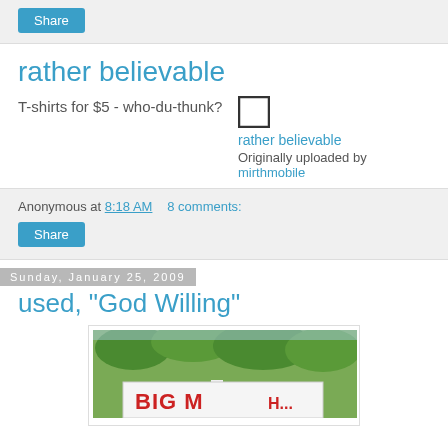Share
rather believable
T-shirts for $5 - who-du-thunk?
[Figure (other): Small square checkbox/image placeholder icon]
rather believable
Originally uploaded by mirthmobile
Anonymous at 8:18 AM   8 comments:
Share
Sunday, January 25, 2009
used, "God Willing"
[Figure (photo): Outdoor photo showing a sign with text 'BIG M ...' with trees in background]